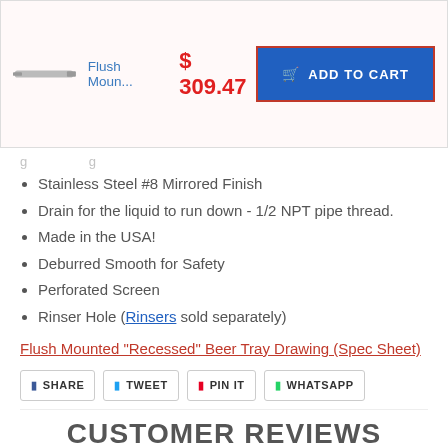Flush Moun...   $ 309.47   ADD TO CART
Stainless Steel #8 Mirrored Finish
Drain for the liquid to run down - 1/2 NPT pipe thread.
Made in the USA!
Deburred Smooth for Safety
Perforated Screen
Rinser Hole (Rinsers sold separately)
Flush Mounted "Recessed" Beer Tray Drawing (Spec Sheet)
SHARE  TWEET  PIN IT  WHATSAPP
CUSTOMER REVIEWS